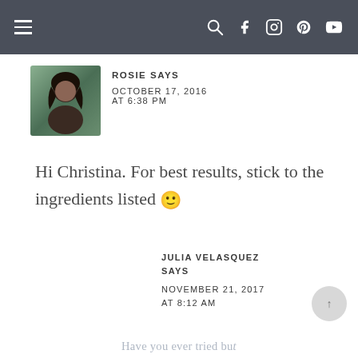Navigation bar with menu, search, Facebook, Instagram, Pinterest, YouTube icons
ROSIE SAYS
OCTOBER 17, 2016 AT 6:38 PM
Hi Christina. For best results, stick to the ingredients listed 🙂
JULIA VELASQUEZ SAYS
NOVEMBER 21, 2017 AT 8:12 AM
Have you ever tried but